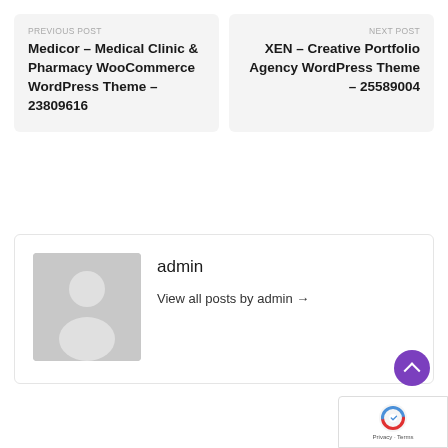PREVIOUS POST
Medicor – Medical Clinic & Pharmacy WooCommerce WordPress Theme – 23809616
NEXT POST
XEN – Creative Portfolio Agency WordPress Theme – 25589004
admin
View all posts by admin →
[Figure (illustration): Generic user avatar placeholder — silhouette of a person on a gray background]
[Figure (logo): Google reCAPTCHA badge with Privacy and Terms links]